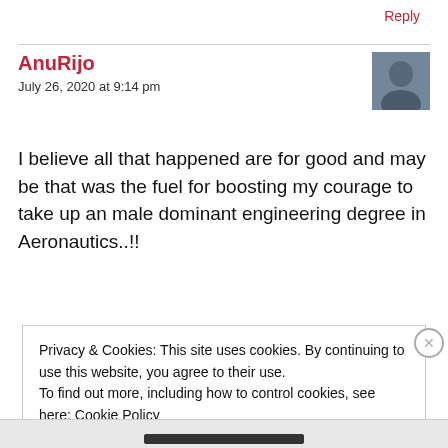Reply
AnuRijo
July 26, 2020 at 9:14 pm
[Figure (photo): Avatar photo of user AnuRijo, a person in outdoor setting]
I believe all that happened are for good and may be that was the fuel for boosting my courage to take up an male dominant engineering degree in Aeronautics..!!
Privacy & Cookies: This site uses cookies. By continuing to use this website, you agree to their use.
To find out more, including how to control cookies, see here: Cookie Policy
Close and accept